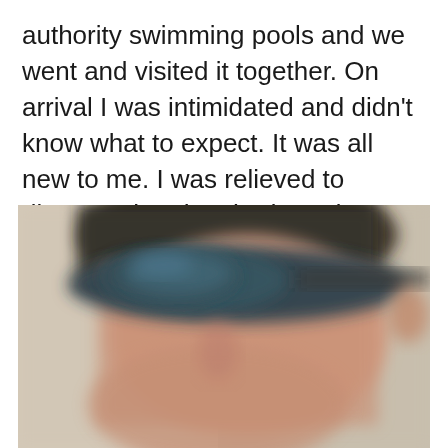authority swimming pools and we went and visited it together. On arrival I was intimidated and didn't know what to expect. It was all new to me. I was relieved to discover that they had gender neutral changing room with cubicles.
[Figure (photo): A blurred/pixelated selfie-style photo showing a person's face wearing dark swimming goggles pushed up on their forehead, with a beige/cream wall visible in the background. The face is partially out of frame and the image is intentionally blurred to obscure identity.]